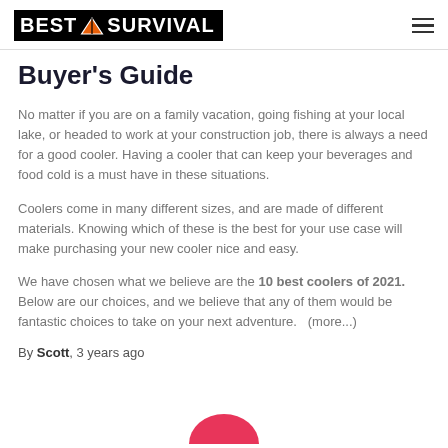BEST SURVIVAL
Buyer's Guide
No matter if you are on a family vacation, going fishing at your local lake, or headed to work at your construction job, there is always a need for a good cooler.  Having a cooler that can keep your beverages and food cold is a must have in these situations.
Coolers come in many different sizes, and are made of different materials.  Knowing which of these is the best for your use case will make purchasing your new cooler nice and easy.
We have chosen what we believe are the 10 best coolers of 2021. Below are our choices, and we believe that any of them would be fantastic choices to take on your next adventure.   (more...)
By Scott, 3 years ago